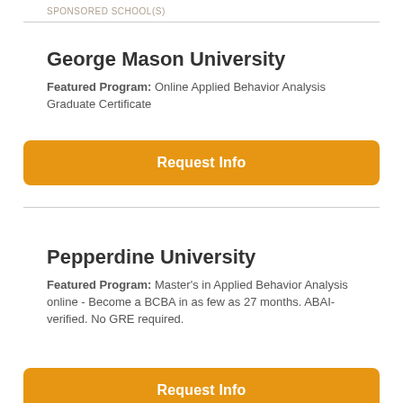SPONSORED SCHOOL(S)
George Mason University
Featured Program: Online Applied Behavior Analysis Graduate Certificate
Request Info
Pepperdine University
Featured Program: Master's in Applied Behavior Analysis online - Become a BCBA in as few as 27 months. ABAI-verified. No GRE required.
Request Info